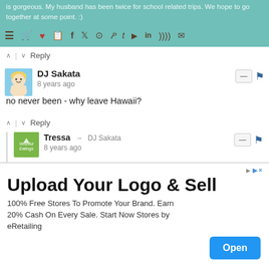is gorgeous. My husband has been twice for school related trips. We hope to go together at some point. :)
∧ | ∨ Reply
[Figure (photo): DJ Sakata user avatar - illustrated blond character on blue background]
DJ Sakata
8 years ago
no never been - why leave Hawaii?
∧ | ∨ Reply
[Figure (logo): Tressa / Wishful Eatings green logo avatar]
Tressa → DJ Sakata
8 years ago
Lol! Why indeed? ;)
∧ | ∨ Reply
[Figure (photo): lesley user avatar - generic gray person silhouette]
lesley
8 years ago
have never been to new york but really want to visit at
[Figure (infographic): Advertisement banner: Upload Your Logo & Sell. 100% Free Stores To Promote Your Brand. Earn 20% Cash On Every Sale. Start Now Stores by eRetailing. Open button.]